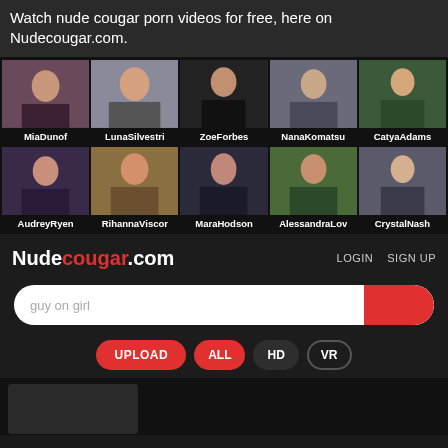Watch nude cougar porn videos for free, here on Nudecougar.com.
[Figure (photo): Grid of 10 profile thumbnails with names: MiaDunof, LunaSilvestri, ZoeForbes, NanaKomatsu, CatyaAdams (row 1); AudreyRyen, RihannaViscor, MaraHodson, AlessandraLov, CrystalNash (row 2)]
Nudecougar.com  LOGIN  SIGN UP
guy on girl
UPLOAD  ALL  HD  VR